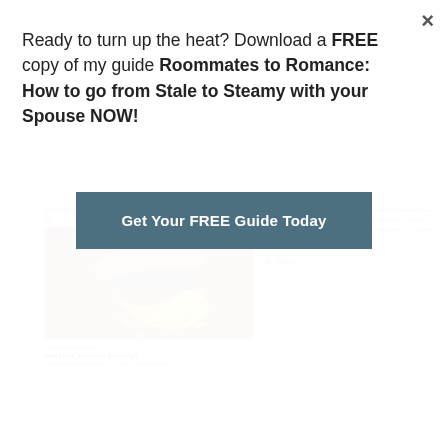[Figure (screenshot): Background showing two social media panels side by side — left panel shows a blog post about 'Bad Luck, Beautiful Blessings' with a shoe stepping on a banana peel image, right panel shows a Facebook message about a restored post with a Delete option. Both panels have icon toolbars at the bottom.]
Ready to turn up the heat? Download a FREE copy of my guide Roommates to Romance: How to go from Stale to Steamy with your Spouse NOW!
Get Your FREE Guide Today
×